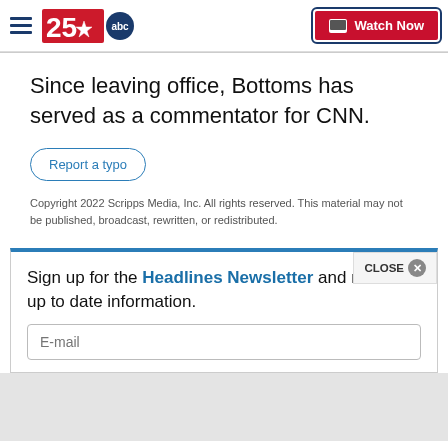25 ABC - Connecting Central Texas | Watch Now
Since leaving office, Bottoms has served as a commentator for CNN.
Report a typo
Copyright 2022 Scripps Media, Inc. All rights reserved. This material may not be published, broadcast, rewritten, or redistributed.
Sign up for the Headlines Newsletter and receive up to date information.
E-mail
CLOSE